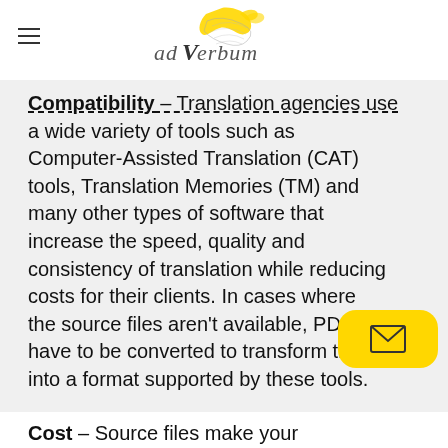[Figure (logo): Ad Verbum translation agency logo with yellow bird/fox sketch and handwritten-style text]
Compatibility – Translation agencies use a wide variety of tools such as Computer-Assisted Translation (CAT) tools, Translation Memories (TM) and many other types of software that increase the speed, quality and consistency of translation while reducing costs for their clients. In cases where the source files aren't available, PDFs have to be converted to transform them into a format supported by these tools.
Cost – Source files make your